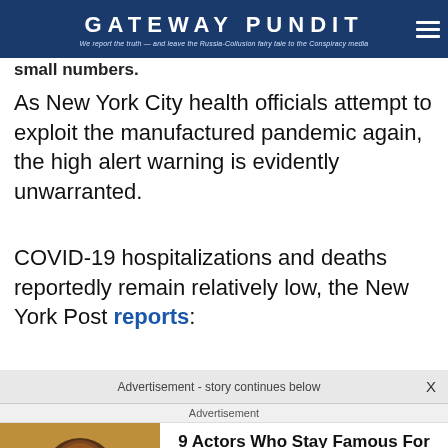GATEWAY PUNDIT — We report the truth — and leave the Russia-Collusion fairy tale to the Conspiracy media
small numbers.
As New York City health officials attempt to exploit the manufactured pandemic again, the high alert warning is evidently unwarranted.
COVID-19 hospitalizations and deaths reportedly remain relatively low, the New York Post reports:
Advertisement - story continues below
Advertisement
9 Actors Who Stay Famous For That One Movie They Did 10 Years Ago
Brainberries